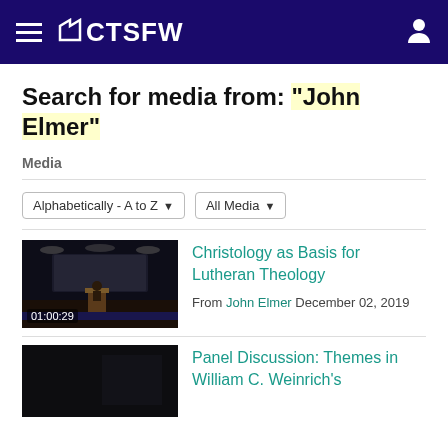CTSFW
Search for media from: "John Elmer"
Media
Alphabetically - A to Z  All Media
[Figure (screenshot): Video thumbnail of a lecture hall, dark scene, duration 01:00:29]
Christology as Basis for Lutheran Theology
From John Elmer December 02, 2019
[Figure (screenshot): Video thumbnail, very dark scene]
Panel Discussion: Themes in William C. Weinrich's